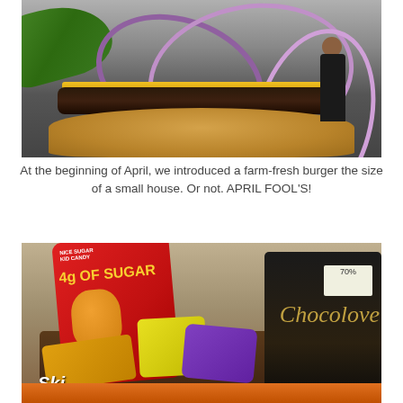[Figure (photo): A giant burger on a street with a tiny person standing next to it for scale. The burger has a toasted bun, patty, cheese, lettuce, and large purple onion rings draped over it.]
At the beginning of April, we introduced a farm-fresh burger the size of a small house. Or not. APRIL FOOL'S!
[Figure (photo): A basket filled with various candy packages including a red bag labeled '4g OF SUGAR', Skittles, a purple package, yellow package, and a dark Chocolove chocolate bar.]